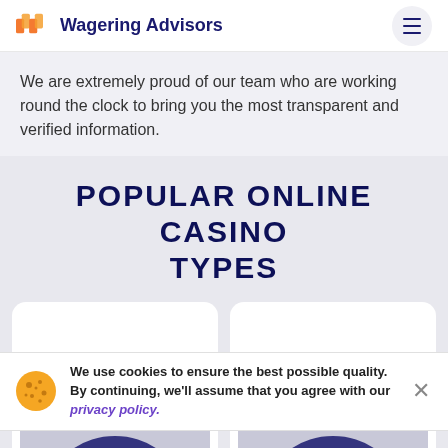Wagering Advisors
We are extremely proud of our team who are working round the clock to bring you the most transparent and verified information.
POPULAR ONLINE CASINO TYPES
We use cookies to ensure the best possible quality. By continuing, we'll assume that you agree with our privacy policy.
[Figure (photo): Two casino roulette/spinning top images at the bottom of the page, partially visible]